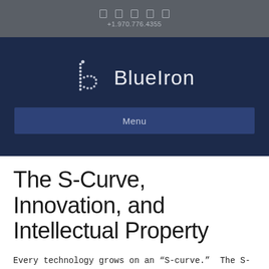+1.970.776.4355
[Figure (logo): BlueIron logo with stylized 'b' made of dots/circles and the text 'BlueIron' in light gray on dark navy background]
Menu
The S-Curve, Innovation, and Intellectual Property
Every technology grows on an “S-curve.”  The S-curve cycle is where an idea is born, then it struggles to get product-market fit through infancy.  Once it begins to